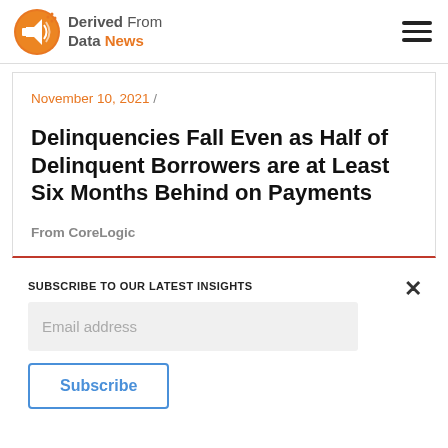Derived From Data News
November 10, 2021 /
Delinquencies Fall Even as Half of Delinquent Borrowers are at Least Six Months Behind on Payments
From CoreLogic
SUBSCRIBE TO OUR LATEST INSIGHTS
Email address
Subscribe